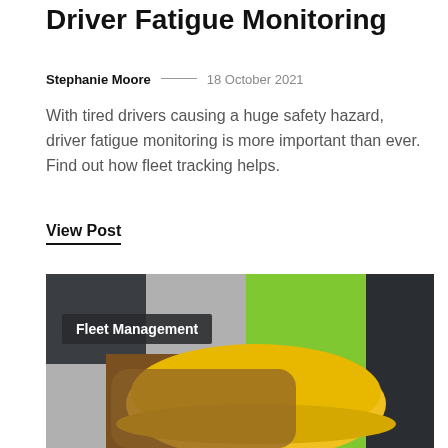Driver Fatigue Monitoring
Stephanie Moore — 18 October 2021
With tired drivers causing a huge safety hazard, driver fatigue monitoring is more important than ever. Find out how fleet tracking helps.
View Post
[Figure (photo): A worker in a green high-visibility vest and dark jacket holding a yellow hard hat with brown leather gloves, with a tag overlay reading 'Fleet Management']